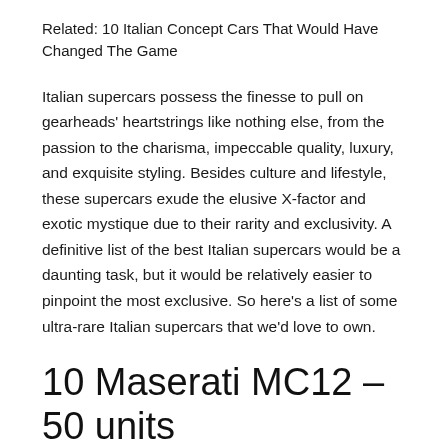Related: 10 Italian Concept Cars That Would Have Changed The Game
Italian supercars possess the finesse to pull on gearheads' heartstrings like nothing else, from the passion to the charisma, impeccable quality, luxury, and exquisite styling. Besides culture and lifestyle, these supercars exude the elusive X-factor and exotic mystique due to their rarity and exclusivity. A definitive list of the best Italian supercars would be a daunting task, but it would be relatively easier to pinpoint the most exclusive. So here's a list of some ultra-rare Italian supercars that we'd love to own.
10 Maserati MC12 – 50 units